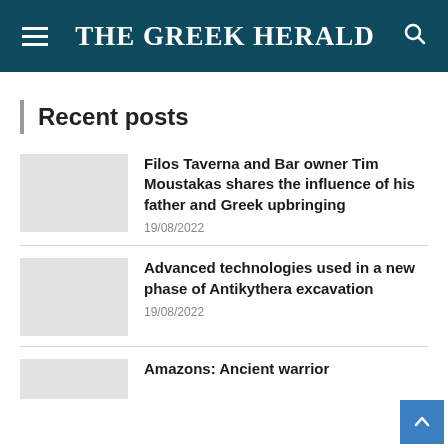THE GREEK HERALD
Recent posts
Filos Taverna and Bar owner Tim Moustakas shares the influence of his father and Greek upbringing
19/08/2022
Advanced technologies used in a new phase of Antikythera excavation
19/08/2022
Amazons: Ancient warrior